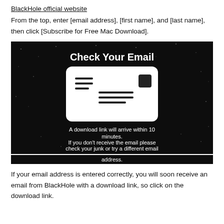BlackHole official website
From the top, enter [email address], [first name], and [last name], then click [Subscribe for Free Mac Download].
[Figure (screenshot): Screenshot of a 'Check Your Email' confirmation screen with dark/space background. Shows an envelope icon with lines, text reading: 'A download link will arrive within 10 minutes. If you don't receive the email please check your junk or try a different email address.']
If your email address is entered correctly, you will soon receive an email from BlackHole with a download link, so click on the download link.